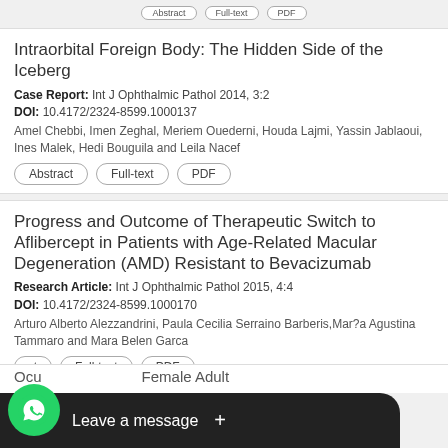Intraorbital Foreign Body: The Hidden Side of the Iceberg
Case Report: Int J Ophthalmic Pathol 2014, 3:2
DOI: 10.4172/2324-8599.1000137
Amel Chebbi, Imen Zeghal, Meriem Ouederni, Houda Lajmi, Yassin Jablaoui, Ines Malek, Hedi Bouguila and Leila Nacef
Abstract
Full-text
PDF
Progress and Outcome of Therapeutic Switch to Aflibercept in Patients with Age-Related Macular Degeneration (AMD) Resistant to Bevacizumab
Research Article: Int J Ophthalmic Pathol 2015, 4:4
DOI: 10.4172/2324-8599.1000170
Arturo Alberto Alezzandrini, Paula Cecilia Serraino Barberis, Mar?a Agustina Tammaro and Mara Belen Garca
Abstract (partially hidden)
Full-text
PDF
Ocu...Female Adult